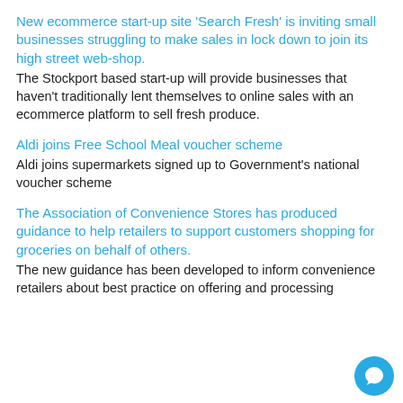New ecommerce start-up site 'Search Fresh' is inviting small businesses struggling to make sales in lock down to join its high street web-shop.
The Stockport based start-up will provide businesses that haven't traditionally lent themselves to online sales with an ecommerce platform to sell fresh produce.
Aldi joins Free School Meal voucher scheme
Aldi joins supermarkets signed up to Government's national voucher scheme
The Association of Convenience Stores has produced guidance to help retailers to support customers shopping for groceries on behalf of others.
The new guidance has been developed to inform convenience retailers about best practice on offering and processing